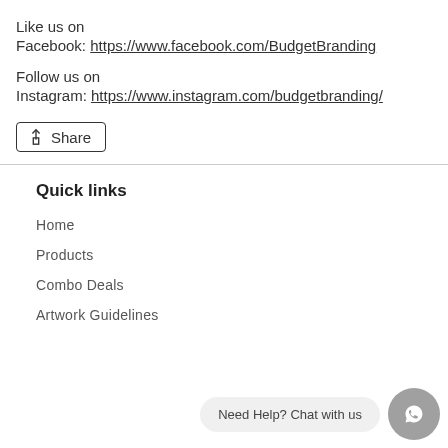Like us on
Facebook: https://www.facebook.com/BudgetBranding
Follow us on
Instagram: https://www.instagram.com/budgetbranding/
Share
Quick links
Home
Products
Combo Deals
Artwork Guidelines
Need Help? Chat with us